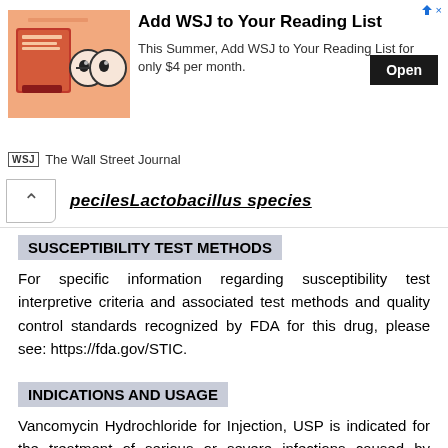[Figure (other): Wall Street Journal advertisement banner with WSJ logo and 'Add WSJ to Your Reading List' text, 'Open' button, and WSJ mascot image with glasses on orange background]
pecilesLactobacillus species
SUSCEPTIBILITY TEST METHODS
For specific information regarding susceptibility test interpretive criteria and associated test methods and quality control standards recognized by FDA for this drug, please see: https://fda.gov/STIC.
INDICATIONS AND USAGE
Vancomycin Hydrochloride for Injection, USP is indicated for the treatment of serious or severe infections caused by susceptible strains of methicillin-resistant (β-lactam-resistant) staphylococci. It is indicated for penicillin-allergic patients, for patients who cannot receive or who have failed to respond to other drugs, including the penicillins or cephalosporins, and